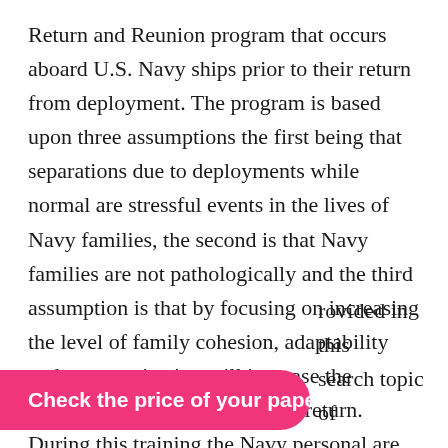Return and Reunion program that occurs aboard U.S. Navy ships prior to their return from deployment. The program is based upon three assumptions the first being that separations due to deployments while normal are stressful events in the lives of Navy families, the second is that Navy families are not pathologically and the third assumption is that by focusing on increasing the level of family cohesion, adaptability and communication will increase the success of the deployed sailors return. During this training the Navy personal are taught coping skills that assist them when confronted with the joyful yet stressful events that occur upon returning. While this program was designed especially for Navy and Marine Corp personal the information provided can be used to assist members of the Army and Air rovided in this search topic of
Check the price of your paper